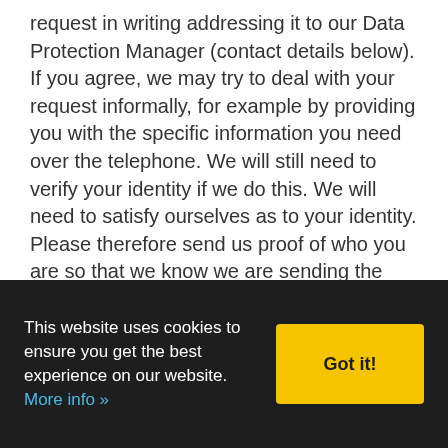request in writing addressing it to our Data Protection Manager (contact details below). If you agree, we may try to deal with your request informally, for example by providing you with the specific information you need over the telephone. We will still need to verify your identity if we do this. We will need to satisfy ourselves as to your identity. Please therefore send us proof of who you are so that we know we are sending the information to the right person. We accept the following as proof:
This website uses cookies to ensure you get the best experience on our website. More info »